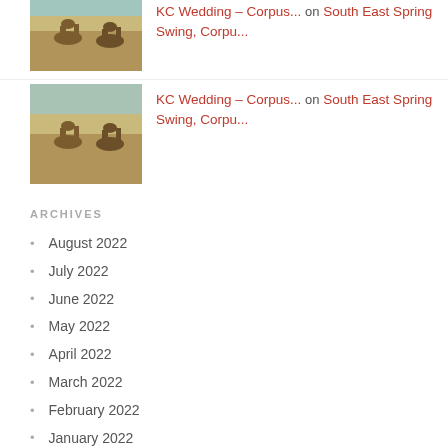[Figure (photo): Thumbnail photo of people riding camels in a desert landscape]
KC Wedding – Corpus... on South East Spring Swing, Corpu...
ARCHIVES
August 2022
July 2022
June 2022
May 2022
April 2022
March 2022
February 2022
January 2022
December 2021
November 2021
October 2021